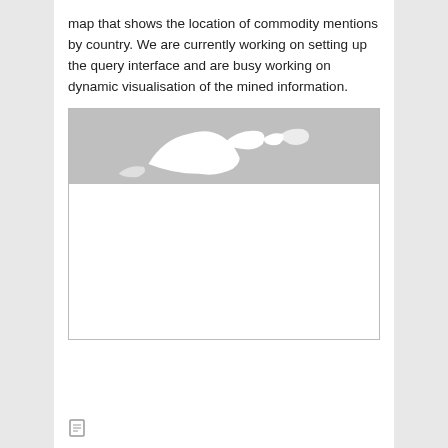map that shows the location of commodity mentions by country. We are currently working on setting up the query interface and are busy working on dynamic visualisation of the mined information.
[Figure (map): A world map image partially visible, showing grey background with white land masses visible at the top portion, and white/blank lower portion. Appears to be a screenshot of an interactive commodity mentions map.]